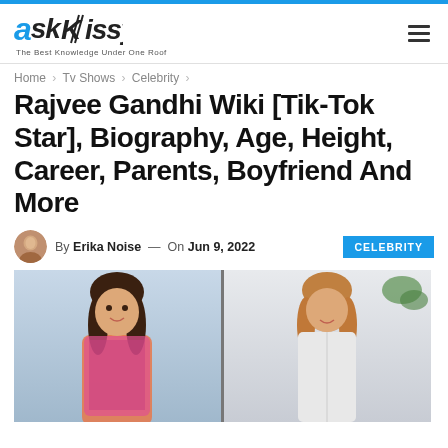Ask Kissy — The Best Knowledge Under One Roof
Home > Tv Shows > Celebrity >
Rajvee Gandhi Wiki [Tik-Tok Star], Biography, Age, Height, Career, Parents, Boyfriend And More
By Erika Noise — On Jun 9, 2022  CELEBRITY
[Figure (photo): Two photos of Rajvee Gandhi side by side]